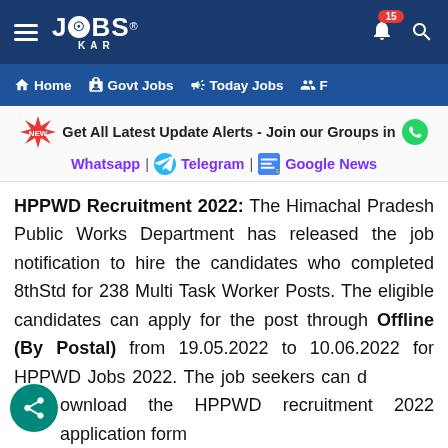JOBS KAR - Home | Govt Jobs | Today Jobs | F
[Figure (logo): JobsKar logo with hamburger menu, bell notification with badge 15, and search icon on dark blue navigation bar]
Get All Latest Update Alerts - Join our Groups in Whatsapp | Telegram | Google News
HPPWD Recruitment 2022: The Himachal Pradesh Public Works Department has released the job notification to hire the candidates who completed 8thStd for 238 Multi Task Worker Posts. The eligible candidates can apply for the post through Offline (By Postal) from 19.05.2022 to 10.06.2022 for HPPWD Jobs 2022. The job seekers can download the HPPWD recruitment 2022 application form PDF from the official website @ hppwd.hp.gov.in or from